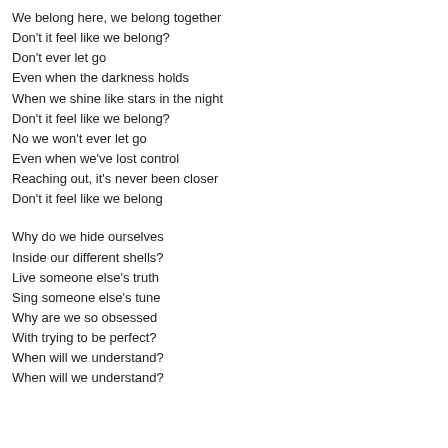We belong here, we belong together
Don't it feel like we belong?
Don't ever let go
Even when the darkness holds
When we shine like stars in the night
Don't it feel like we belong?
No we won't ever let go
Even when we've lost control
Reaching out, it's never been closer
Don't it feel like we belong
Why do we hide ourselves
Inside our different shells?
Live someone else's truth
Sing someone else's tune
Why are we so obsessed
With trying to be perfect?
When will we understand?
When will we understand?